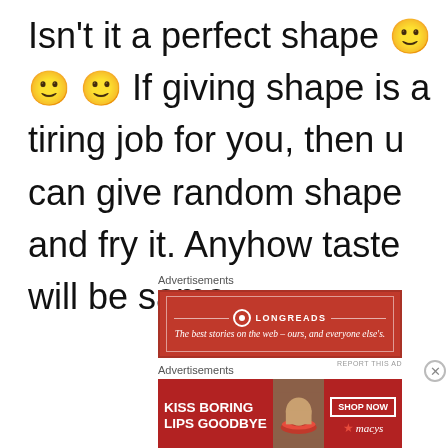Isn't it a perfect shape 🙂 🙂 🙂 If giving shape is a tiring job for you, then u can give random shape and fry it. Anyhow taste will be same.
Advertisements
[Figure (screenshot): Longreads advertisement banner - red background with text 'The best stories on the web – ours, and everyone else's.']
Advertisements
[Figure (screenshot): Macy's advertisement banner - Kiss Boring Lips Goodbye, Shop Now]